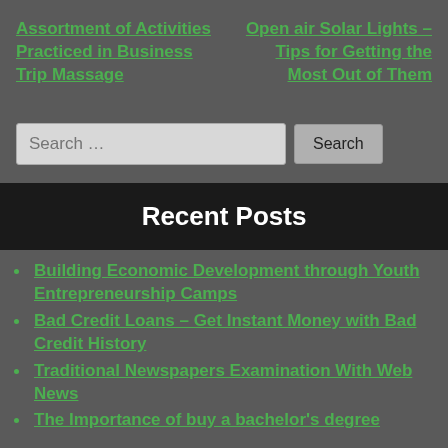Assortment of Activities Practiced in Business Trip Massage
Open air Solar Lights – Tips for Getting the Most Out of Them
Recent Posts
Building Economic Development through Youth Entrepreneurship Camps
Bad Credit Loans – Get Instant Money with Bad Credit History
Traditional Newspapers Examination With Web News
The Importance of buy a bachelor's degree